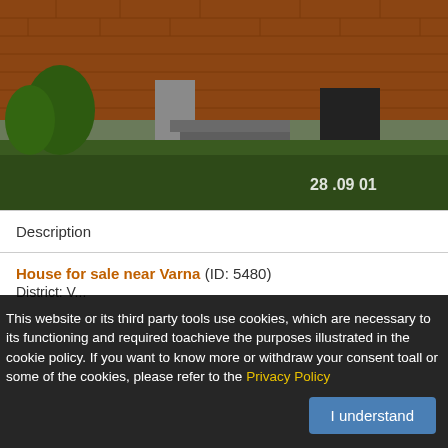[Figure (photo): Photo of a brick house with concrete stairs leading to entrance, green garden/vegetation in foreground, timestamp '28.09 01' in lower right corner]
Description
House for sale near Varna (ID: 5480)
District: V...
This website or its third party tools use cookies, which are necessary to its functioning and required toachieve the purposes illustrated in the cookie policy. If you want to know more or withdraw your consent toall or some of the cookies, please refer to the Privacy Policy